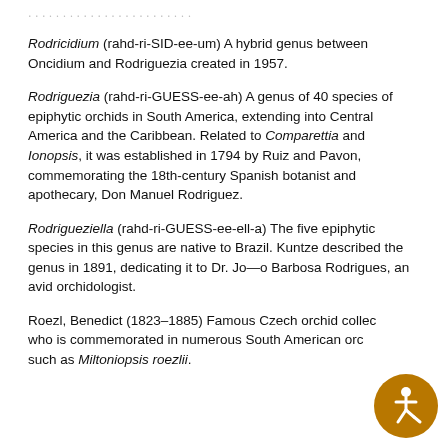Rodricidium (rahd-ri-SID-ee-um) A hybrid genus between Oncidium and Rodriguezia created in 1957.
Rodriguezia (rahd-ri-GUESS-ee-ah) A genus of 40 species of epiphytic orchids in South America, extending into Central America and the Caribbean. Related to Comparettia and Ionopsis, it was established in 1794 by Ruiz and Pavon, commemorating the 18th-century Spanish botanist and apothecary, Don Manuel Rodriguez.
Rodrigueziella (rahd-ri-GUESS-ee-ell-a) The five epiphytic species in this genus are native to Brazil. Kuntze described the genus in 1891, dedicating it to Dr. Jo—o Barbosa Rodrigues, an avid orchidologist.
Roezl, Benedict (1823–1885) Famous Czech orchid collector who is commemorated in numerous South American orchids, such as Miltoniopsis roezlii.